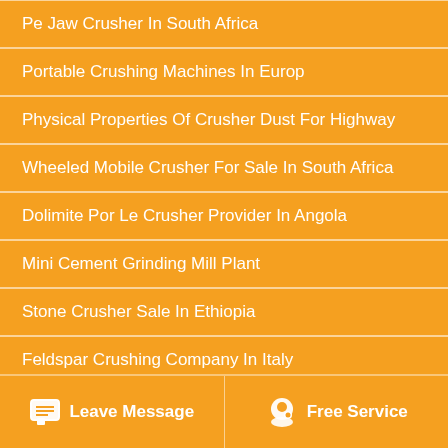Pe Jaw Crusher In South Africa
Portable Crushing Machines In Europ
Physical Properties Of Crusher Dust For Highway
Wheeled Mobile Crusher For Sale In South Africa
Dolimite Por Le Crusher Provider In Angola
Mini Cement Grinding Mill Plant
Stone Crusher Sale In Ethiopia
Feldspar Crushing Company In Italy
High Quality Limestone Hammer Crushers
Leave Message
Free Service